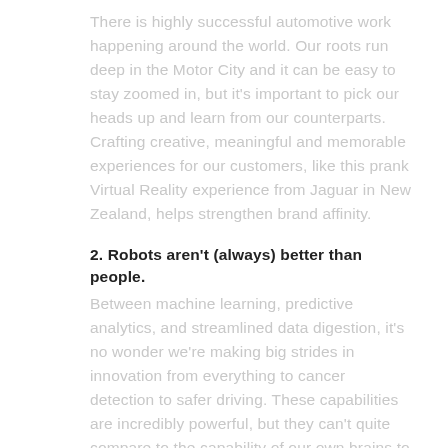There is highly successful automotive work happening around the world. Our roots run deep in the Motor City and it can be easy to stay zoomed in, but it's important to pick our heads up and learn from our counterparts. Crafting creative, meaningful and memorable experiences for our customers, like this prank Virtual Reality experience from Jaguar in New Zealand, helps strengthen brand affinity.
2. Robots aren't (always) better than people.
Between machine learning, predictive analytics, and streamlined data digestion, it's no wonder we're making big strides in innovation from everything to cancer detection to safer driving. These capabilities are incredibly powerful, but they can't quite compare to the capability of our own brains to learn from past failures, write our own stories